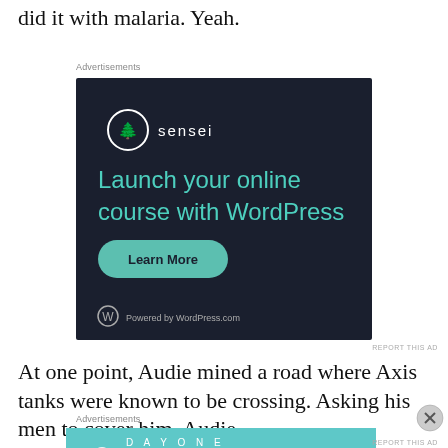did it with malaria. Yeah.
Advertisements
[Figure (screenshot): Advertisement for Sensei plugin: dark background with sensei logo and text 'Launch your online course with WordPress', green 'Learn More' button, 'Powered by WordPress.com' at bottom.]
REPORT THIS AD
At one point, Audie mined a road where Axis tanks were known to be crossing. Asking his men to cover him, Audie
Advertisements
[Figure (screenshot): Advertisement for Day One journaling app: teal background with 'DAY ONE' text, illustrated icons, and text 'The only journaling app you'll ever need.']